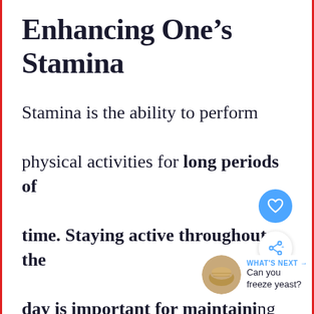Enhancing One’s Stamina
Stamina is the ability to perform physical activities for long periods of time. Staying active throughout the day is important for maintaining a healthy lifestyle. Exercising is
[Figure (other): Blue circular heart/like button icon and white circular share button icon on the right side of the page]
[Figure (other): WHAT'S NEXT section with circular image of a yeast tablet and text 'Can you freeze yeast?']